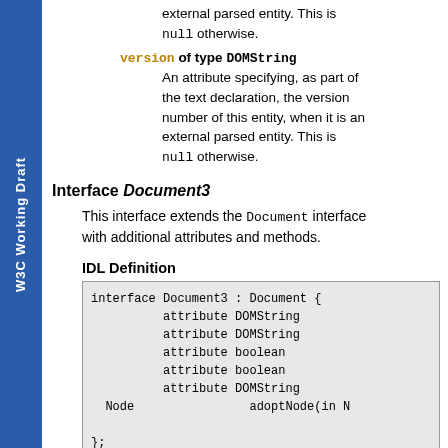W3C Working Draft
external parsed entity. This is null otherwise.
version of type DOMString — An attribute specifying, as part of the text declaration, the version number of this entity, when it is an external parsed entity. This is null otherwise.
Interface Document3
This interface extends the Document interface with additional attributes and methods.
IDL Definition
interface Document3 : Document {
          attribute DOMString
          attribute DOMString
          attribute boolean
          attribute boolean
          attribute DOMString
  Node                adoptNode(in N

};